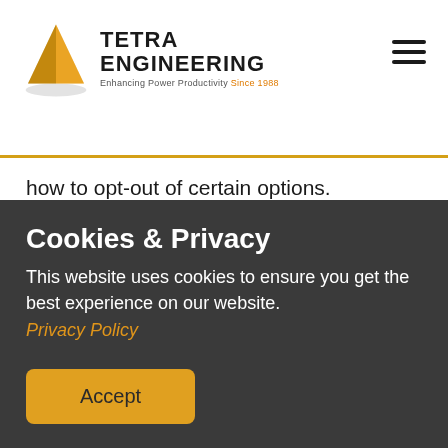TETRA ENGINEERING — Enhancing Power Productivity Since 1998
how to opt-out of certain options.
You can choose to disable cookies through your individual browser options. To know more detailed information about cookie management with specific web browsers, it
Cookies & Privacy
This website uses cookies to ensure you get the best experience on our website.
Privacy Policy
Accept